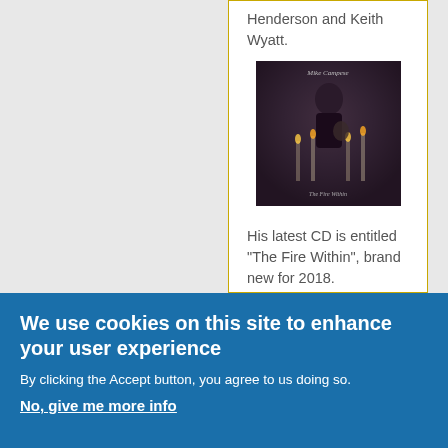Henderson and Keith Wyatt.
[Figure (photo): Album cover for 'The Fire Within' by Mike Campese, showing a long-haired guitarist in dark clothing with candles in the background]
His latest CD is entitled "The Fire Within", brand new for 2018.
Send comments or questions to:
mike@mikecampese.com
Mike Campese's web site
We use cookies on this site to enhance your user experience
By clicking the Accept button, you agree to us doing so.
No, give me more info